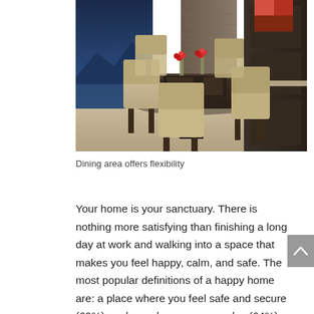[Figure (photo): Interior photo of a modern dining area with beige upholstered chairs around a dark granite/marble table. Red flowers in vases on the table. Stone accent wall and dark cabinetry visible in the background. Mountain landscape visible through large glass windows/doors on the left.]
Dining area offers flexibility
Your home is your sanctuary. There is nothing more satisfying than finishing a long day at work and walking into a space that makes you feel happy, calm, and safe. The most popular definitions of a happy home are: a place where you feel safe and secure (69%), a place where you can relax (64%), a place where you can be yourself (57%). So what if you can't get that…